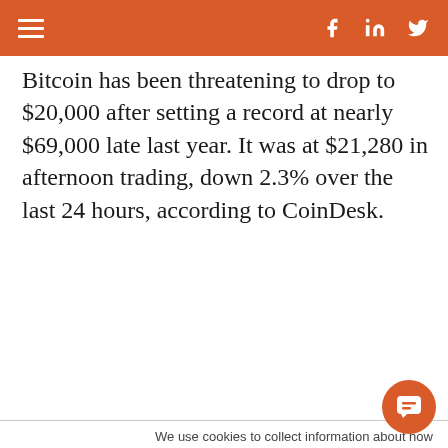Navigation bar with hamburger menu, Facebook, LinkedIn, Twitter icons
Bitcoin has been threatening to drop to $20,000 after setting a record at nearly $69,000 late last year. It was at $21,280 in afternoon trading, down 2.3% over the last 24 hours, according to CoinDesk.
We use cookies to collect information about how you interact with our website. We use this information in order to improve and customize your browsing experience and for analytics and metrics about our visitors both on this website and other media. To find out more about the cookies we use, see our Privacy Policy.
If you decline, your information won't be tracked
[Figure (screenshot): iOS 'Install this web app on your iPhone' banner with share icon and 'Add to Home Screen' instruction]